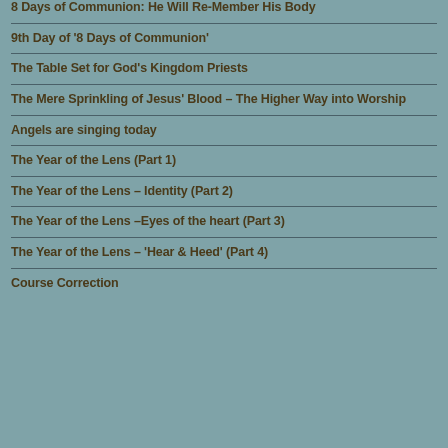8 Days of Communion: He Will Re-Member His Body
9th Day of '8 Days of Communion'
The Table Set for God's Kingdom Priests
The Mere Sprinkling of Jesus' Blood – The Higher Way into Worship
Angels are singing today
The Year of the Lens (Part 1)
The Year of the Lens – Identity (Part 2)
The Year of the Lens –Eyes of the heart (Part 3)
The Year of the Lens – 'Hear & Heed' (Part 4)
Course Correction